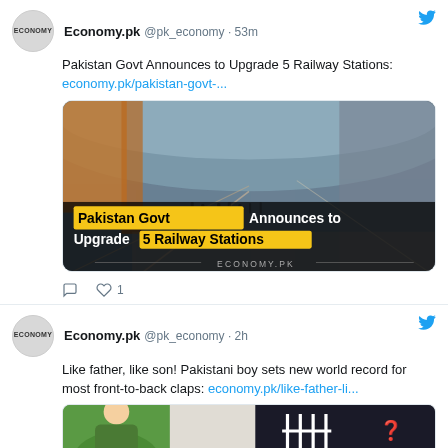Economy.pk @pk_economy · 53m
Pakistan Govt Announces to Upgrade 5 Railway Stations: economy.pk/pakistan-govt-...
[Figure (photo): Railway station interior with image overlay text: Pakistan Govt Announces to Upgrade 5 Railway Stations. ECONOMY.PK branding at bottom.]
1 like
Economy.pk @pk_economy · 2h
Like father, like son! Pakistani boy sets new world record for most front-to-back claps: economy.pk/like-father-li...
[Figure (photo): Partial bottom strip image showing a person and tally marks graphic.]